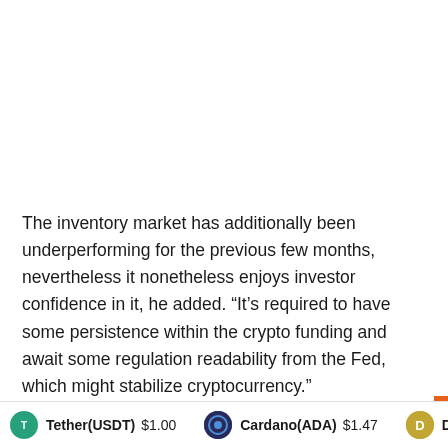The inventory market has additionally been underperforming for the previous few months, nevertheless it nonetheless enjoys investor confidence in it, he added. “It’s required to have some persistence within the crypto funding and await some regulation readability from the Fed, which might stabilize cryptocurrency.”
Adblock test (Why?)
Tether(USDT) $1.00   Cardano(ADA) $1.47   Dogecoin